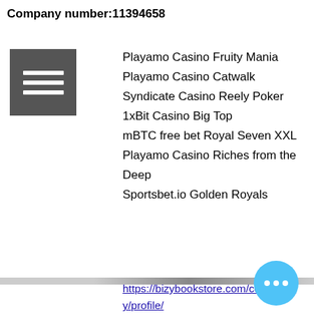Company number:11394658
Playamo Casino Fruity Mania
Playamo Casino Catwalk
Syndicate Casino Reely Poker
1xBit Casino Big Top
mBTC free bet Royal Seven XXL
Playamo Casino Riches from the Deep
Sportsbet.io Golden Royals
https://bizybookstore.com/community/profile/casinoen10746593/
https://xuongtuonggo.vn/casino-valle-verde-henderson-nv-soaring-eagle-casino-mt-pleasant-mi-63521/
https://www.bhfcbattersea.co.uk/profile/tab-and-slot-construction-definition-5311/profile
https://cchub.com.au/2022/04/online-game-no-download-fun-dirty-games-to-play-online/